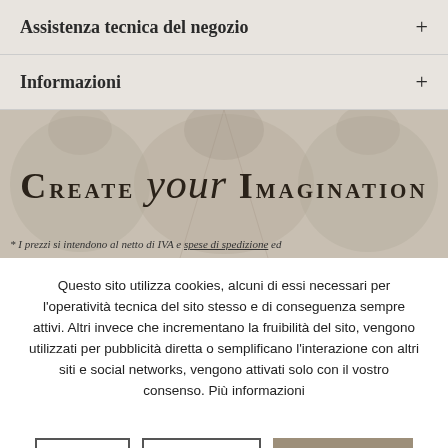Assistenza tecnica del negozio +
Informazioni +
[Figure (logo): CREATE your IMAGINATION logo on decorative textured background with footnote text about prices excluding VAT and shipping costs]
Questo sito utilizza cookies, alcuni di essi necessari per l'operatività tecnica del sito stesso e di conseguenza sempre attivi. Altri invece che incrementano la fruibilità del sito, vengono utilizzati per pubblicità diretta o semplificano l'interazione con altri siti e social networks, vengono attivati solo con il vostro consenso. Più informazioni
Rifiuto | Configura | Accettare tutto